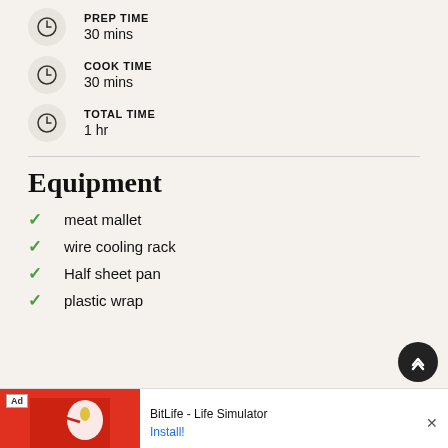PREP TIME
30 mins
COOK TIME
30 mins
TOTAL TIME
1 hr
Equipment
meat mallet
wire cooling rack
Half sheet pan
plastic wrap
[Figure (other): Advertisement banner for BitLife - Life Simulator app with red background image and install button]